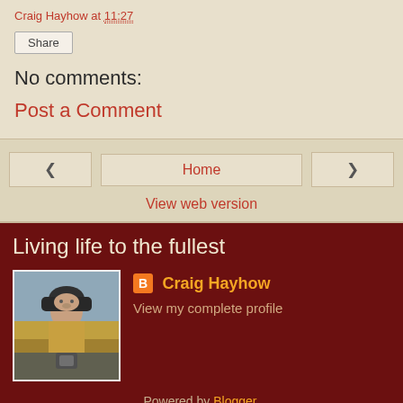Craig Hayhow at 11:27
Share
No comments:
Post a Comment
< Home >
View web version
Living life to the fullest
[Figure (photo): Profile photo of Craig Hayhow, person in yellow jacket and dark hat outdoors]
Craig Hayhow
View my complete profile
Powered by Blogger.